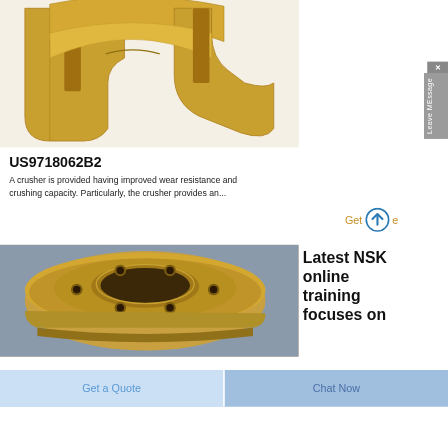[Figure (photo): Gold/bronze colored crusher wear parts shown from above — interlocking curved metallic components with a warm golden finish]
US9718062B2
A crusher is provided having improved wear resistance and crushing capacity. Particularly, the crusher provides an...
Get
[Figure (photo): Bronze/brass flanged bushing or bearing housing — a cylindrical bronze component with a flat circular flange and central bore, photographed on a blue-grey surface]
Latest NSK online training focuses on
Get a Quote
Chat Now